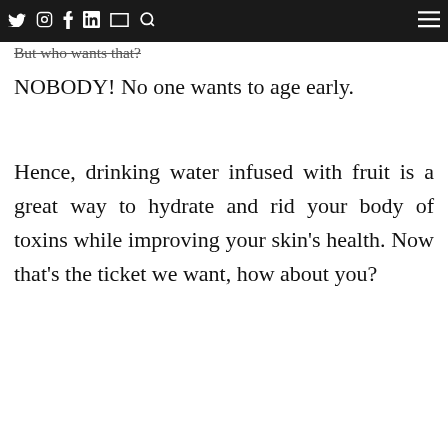collagen, dry, flaky skin, and more.
[nav icons: twitter, instagram, facebook, linkedin, email, search, hamburger menu]
But who wants that?
NOBODY! No one wants to age early.
Hence, drinking water infused with fruit is a great way to hydrate and rid your body of toxins while improving your skin’s health. Now that’s the ticket we want, how about you?